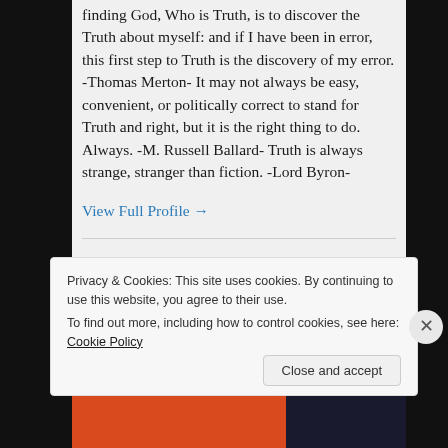finding God, Who is Truth, is to discover the Truth about myself: and if I have been in error, this first step to Truth is the discovery of my error. -Thomas Merton- It may not always be easy, convenient, or politically correct to stand for Truth and right, but it is the right thing to do. Always. -M. Russell Ballard- Truth is always strange, stranger than fiction. -Lord Byron-
View Full Profile →
FOLLOW BLOG VIA EMAIL
Enter your email address to follow this blog and
Privacy & Cookies: This site uses cookies. By continuing to use this website, you agree to their use.
To find out more, including how to control cookies, see here: Cookie Policy